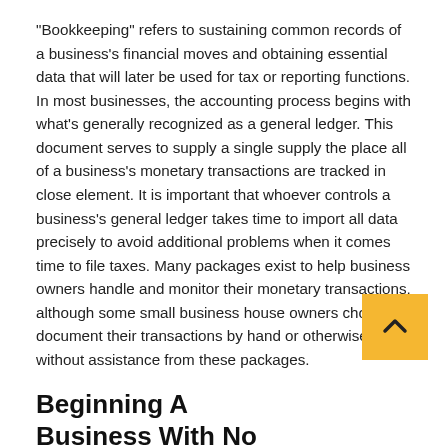“Bookkeeping” refers to sustaining common records of a business’s financial moves and obtaining essential data that will later be used for tax or reporting functions. In most businesses, the accounting process begins with what’s generally recognized as a general ledger. This document serves to supply a single supply the place all of a business’s monetary transactions are tracked in close element. It is important that whoever controls a business’s general ledger takes time to import all data precisely to avoid additional problems when it comes time to file taxes. Many packages exist to help business owners handle and monitor their monetary transactions, although some small business house owners choose to document their transactions by hand or otherwise without assistance from these packages.
Beginning A Business With No Money? This Is How To Do It
It takes some extent of data in accounting to have the